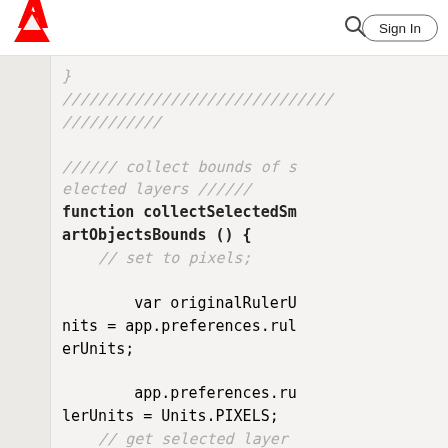Adobe [logo] [search icon] Sign In
[Figure (screenshot): Adobe documentation page showing JavaScript code snippet with function collectSelectedSmartObjectsBounds including comments and variable declarations]